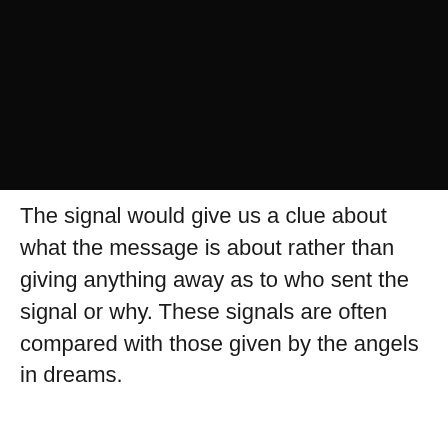[Figure (photo): Black rectangular image filling the top portion of the page]
The signal would give us a clue about what the message is about rather than giving anything away as to who sent the signal or why. These signals are often compared with those given by the angels in dreams.
One way that the angels may communicate their messages is by using numbers. The number one is a standard mode of communication for them. They make you see the same number or numbers over and over